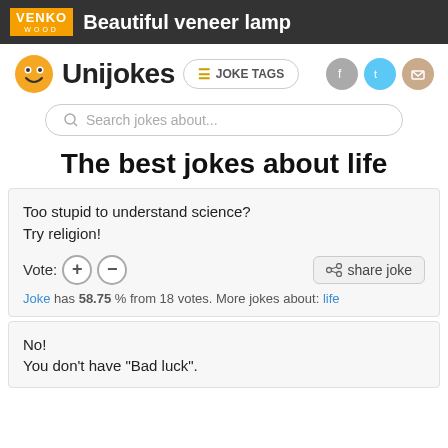VENKO WOOD | Beautiful veneer lamp
[Figure (logo): Unijokes logo with smiley face emoji and site name, Joke Tags button, and social media icons (Facebook, Twitter, Email)]
Search jokes about...
The best jokes about life
Too stupid to understand science?
Try religion!

Vote: [+] [-]   share joke

Joke has 58.75 % from 18 votes. More jokes about: life
No!
You don't have "Bad luck".